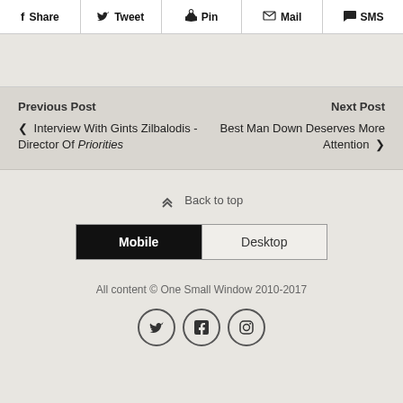f Share  Tweet  Pin  Mail  SMS
Previous Post  |  Next Post
< Interview With Gints Zilbalodis - Director Of Priorities  |  Best Man Down Deserves More Attention >
Back to top
Mobile  Desktop
All content © One Small Window 2010-2017